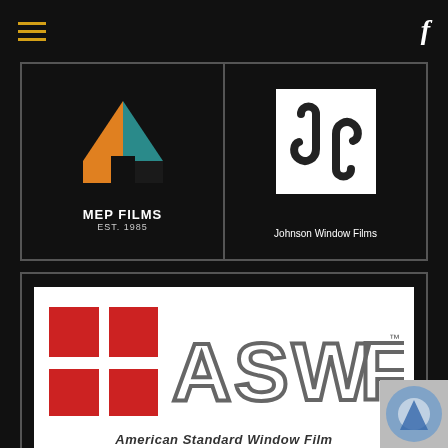[Figure (logo): Navigation bar with hamburger menu (three gold lines) on left and Facebook 'f' icon on right, on black background]
[Figure (logo): MEP Films logo: colorful geometric M shape (orange, teal, dark triangles) above text 'MEP FILMS EST. 1985' on black background]
[Figure (logo): Johnson Window Films logo: white rectangle with stylized JWF swirl symbol, text 'Johnson Window Films' below]
[Figure (logo): American Standard Window Film (ASWF) logo: large red cross/grid symbol on left, bold 'ASWF' letters in gray outline, subtitle 'American Standard Window Film' below with TM mark]
[Figure (logo): Partial logo visible at bottom right corner, gray/blue circular design partially cut off]